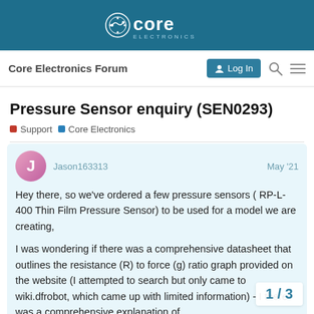Core Electronics
Core Electronics Forum
Pressure Sensor enquiry (SEN0293)
Support  Core Electronics
Jason163313   May '21
Hey there, so we've ordered a few pressure sensors ( RP-L-400 Thin Film Pressure Sensor) to be used for a model we are creating,

I was wondering if there was a comprehensive datasheet that outlines the resistance (R) to force (g) ratio graph provided on the website (I attempted to search but only came to wiki.dfrobot, which came up with limited information) - I there was a comprehensive explanation of
1 / 3